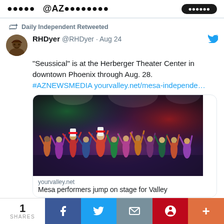Daily Independent Retweeted
RHDyer @RHDyer · Aug 24
"Seussical" is at the Herberger Theater Center in downtown Phoenix through Aug. 28.
#AZNEWSMEDIA yourvalley.net/mesa-independe…
[Figure (photo): Photo of performers on stage in colorful costumes for the musical Seussical, with hands raised, at a theater with purple and red lighting]
yourvalley.net
Mesa performers jump on stage for Valley
1 SHARES | Facebook | Twitter | Email | Pinterest | More